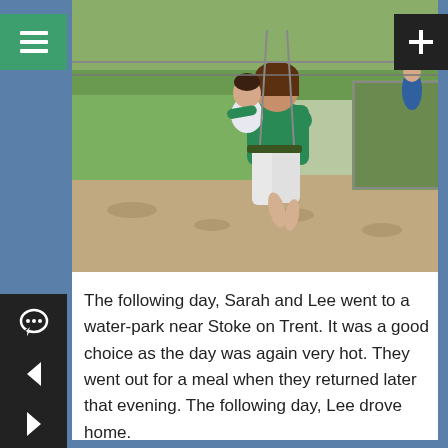[Figure (photo): A woman in a green top and white pants sitting on a swing or bench outdoors with a young child, in a park or garden setting with gravel ground and greenery in the background.]
The following day, Sarah and Lee went to a water-park near Stoke on Trent. It was a good choice as the day was again very hot. They went out for a meal when they returned later that evening. The following day, Lee drove home.
Jamie seems to be enjoying his new job and is getting about the country quite a bit, as well as working in the warehouse and offices. He occasionally brings back pieces of meat for Sue and they are frozen or cooked straight away for tea. He and Harley went out for a meal to